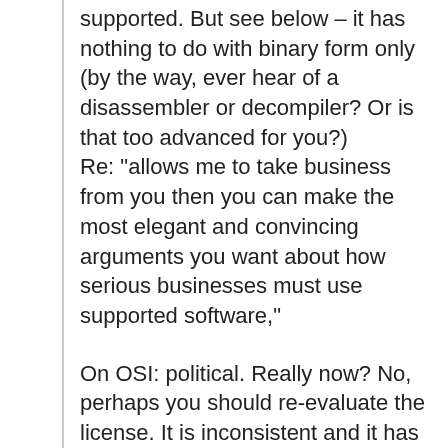supported. But see below – it has nothing to do with binary form only (by the way, ever hear of a disassembler or decompiler? Or is that too advanced for you?) Re: "allows me to take business from you then you can make the most elegant and convincing arguments you want about how serious businesses must use supported software,"
On OSI: political. Really now? No, perhaps you should re-evaluate the license. It is inconsistent and it has serious problems (of TrueCrypt). And open source in those days were very different and so is like comparing apples and oranges.